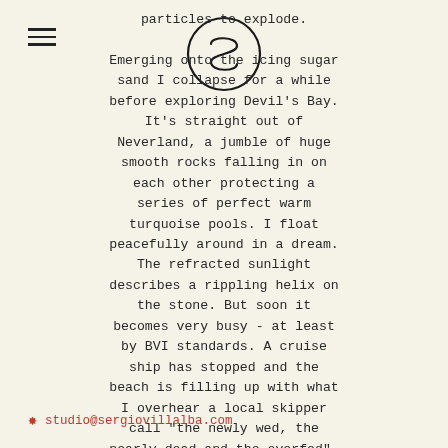[Figure (logo): Hamburger menu icon (three horizontal lines) in upper left corner]
[Figure (logo): Hand-drawn circular logo with an S-curve inside, centered at top of page]
particles to explode.

Emerging onto the icing sugar sand I collapse for a while before exploring Devil's Bay. It's straight out of Neverland, a jumble of huge smooth rocks falling in on each other protecting a series of perfect warm turquoise pools. I float peacefully around in a dream. The refracted sunlight describes a rippling helix on the stone. But soon it becomes very busy - at least by BVI standards. A cruise ship has stopped and the beach is filling up with what I overhear a local skipper call "the newly wed, the nearly dead and the overfed".
studio@sergiovillalba.com